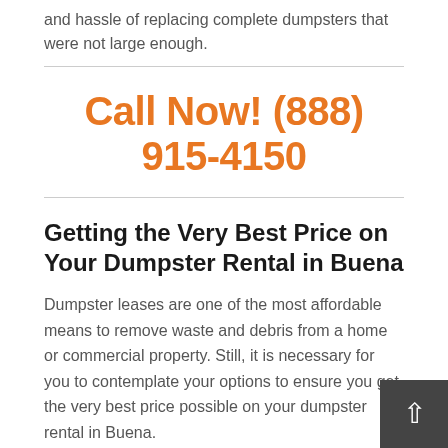and hassle of replacing complete dumpsters that were not large enough.
Call Now! (888) 915-4150
Getting the Very Best Price on Your Dumpster Rental in Buena
Dumpster leases are one of the most affordable means to remove waste and debris from a home or commercial property. Still, it is necessary for you to contemplate your options to ensure you get the very best price possible on your dumpster rental in Buena.
Requesting businesses for price quotes is one of the easiest ways to ensure you get a good deal. After speaking to a number of companies, you can compare the estimates to determine which